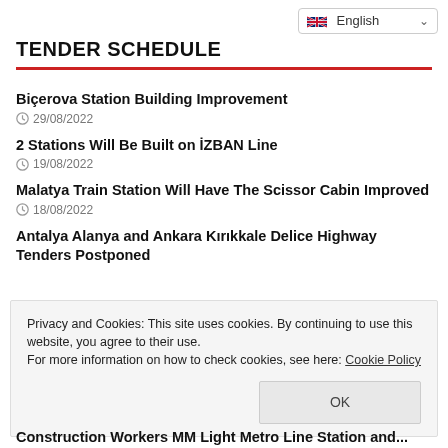English (language selector)
TENDER SCHEDULE
Biçerova Station Building Improvement
29/08/2022
2 Stations Will Be Built on İZBAN Line
19/08/2022
Malatya Train Station Will Have The Scissor Cabin Improved
18/08/2022
Antalya Alanya and Ankara Kırıkkale Delice Highway Tenders Postponed
Privacy and Cookies: This site uses cookies. By continuing to use this website, you agree to their use.
For more information on how to check cookies, see here: Cookie Policy
OK
Construction Workers MM Light Metro Line Station and...